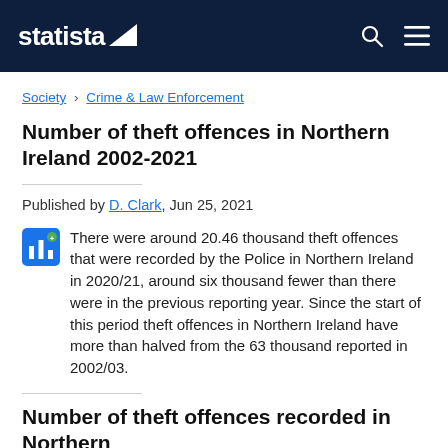statista
Society › Crime & Law Enforcement
Number of theft offences in Northern Ireland 2002-2021
Published by D. Clark, Jun 25, 2021
There were around 20.46 thousand theft offences that were recorded by the Police in Northern Ireland in 2020/21, around six thousand fewer than there were in the previous reporting year. Since the start of this period theft offences in Northern Ireland have more than halved from the 63 thousand reported in 2002/03.
Number of theft offences recorded in Northern